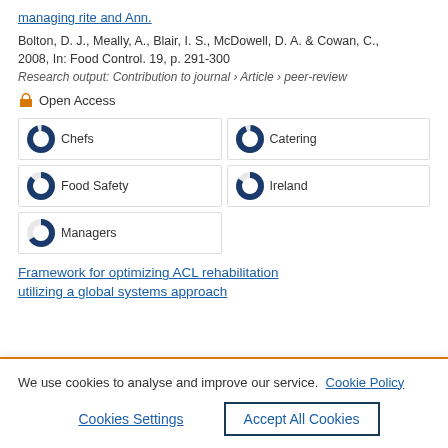managing rite and Ann.
Bolton, D. J., Meally, A., Blair, I. S., McDowell, D. A. & Cowan, C., 2008, In: Food Control. 19, p. 291-300
Research output: Contribution to journal › Article › peer-review
Open Access
Chefs
Catering
Food Safety
Ireland
Managers
Framework for optimizing ACL rehabilitation utilizing a global systems approach
We use cookies to analyse and improve our service. Cookie Policy
Cookies Settings
Accept All Cookies